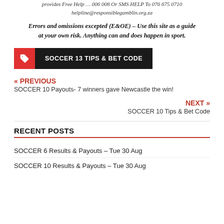provides Free Help … 006 008 Or SMS HELP To 076 675 0710 helpline@responsiblegamblin.org.za
Errors and omissions excepted (E&OE) – Use this site as a guide at your own risk. Anything can and does happen in sport.
SOCCER 13 TIPS & BET CODE
« PREVIOUS
SOCCER 10 Payouts- 7 winners gave Newcastle the win!
NEXT »
SOCCER 10 Tips & Bet Code
RECENT POSTS
SOCCER 6 Results & Payouts – Tue 30 Aug
SOCCER 10 Results & Payouts – Tue 30 Aug